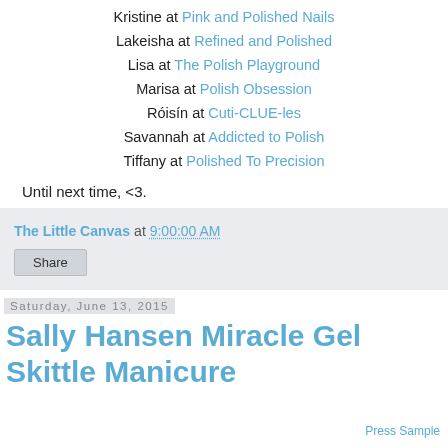Kristine at Pink and Polished Nails
Lakeisha at Refined and Polished
Lisa at The Polish Playground
Marisa at Polish Obsession
Róisín at Cuti-CLUE-les
Savannah at Addicted to Polish
Tiffany at Polished To Precision
Until next time, <3.
The Little Canvas at 9:00:00 AM
Share
Saturday, June 13, 2015
Sally Hansen Miracle Gel Skittle Manicure
Press Sample